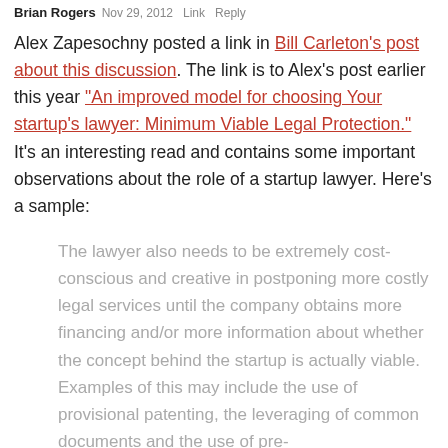Brian Rogers  Nov 29, 2012  Link  Reply
Alex Zapesochny posted a link in Bill Carleton's post about this discussion. The link is to Alex's post earlier this year "An improved model for choosing Your startup's lawyer: Minimum Viable Legal Protection." It's an interesting read and contains some important observations about the role of a startup lawyer. Here's a sample:
The lawyer also needs to be extremely cost-conscious and creative in postponing more costly legal services until the company obtains more financing and/or more information about whether the concept behind the startup is actually viable. Examples of this may include the use of provisional patenting, the leveraging of common documents and the use of pre-